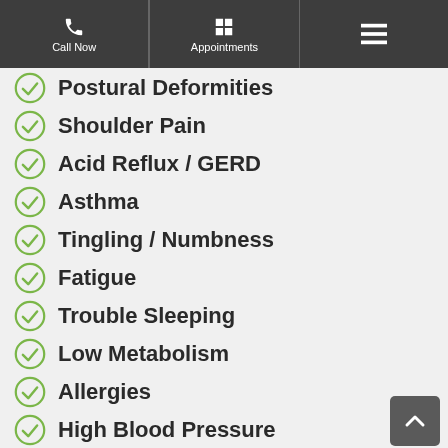Call Now | Appointments | Menu
Postural Deformities
Shoulder Pain
Acid Reflux / GERD
Asthma
Tingling / Numbness
Fatigue
Trouble Sleeping
Low Metabolism
Allergies
High Blood Pressure
Plantar Fasciitis
Frozen Shoulder
Disc Herniation